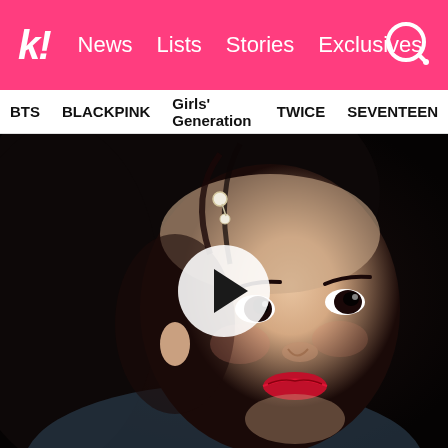k! News Lists Stories Exclusives
BTS BLACKPINK Girls' Generation TWICE SEVENTEEN
[Figure (photo): Close-up portrait of a young Korean woman with dark hair adorned with pearl hairpins, wearing traditional Korean costume, with red lips and large eyes looking upward. A white circular play button overlay is centered on the image.]